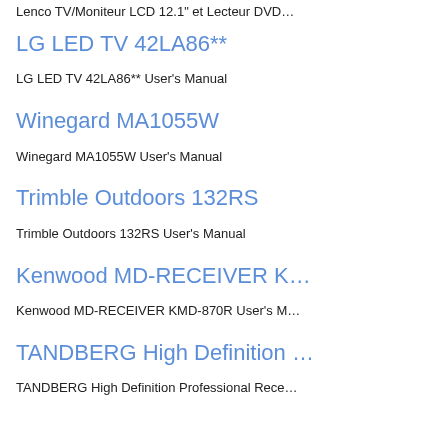Lenco TV/Moniteur LCD 12.1" et Lecteur DVD…
LG LED TV 42LA86**
LG LED TV 42LA86** User's Manual
Winegard MA1055W
Winegard MA1055W User's Manual
Trimble Outdoors 132RS
Trimble Outdoors 132RS User's Manual
Kenwood MD-RECEIVER K…
Kenwood MD-RECEIVER KMD-870R User's M…
TANDBERG High Definition …
TANDBERG High Definition Professional Rece…